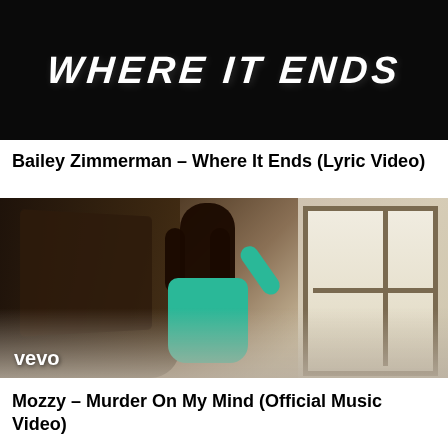[Figure (screenshot): Music video thumbnail for Bailey Zimmerman - Where It Ends, dark background with stylized text]
Bailey Zimmerman – Where It Ends (Lyric Video)
[Figure (screenshot): Vevo music video thumbnail for Mozzy - Murder On My Mind showing a person in a teal hoodie in a moody room with fog/mist, dark wooden table on left, bright windows on right]
Mozzy – Murder On My Mind (Official Music Video)